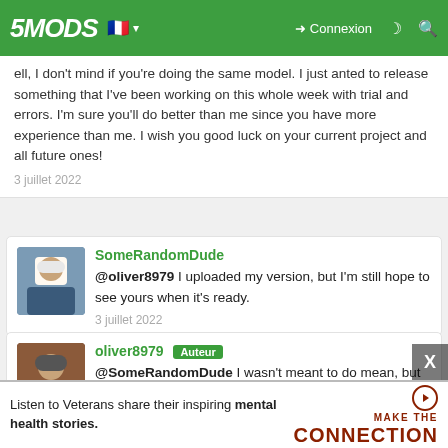5MODS — Connexion navigation bar
ell, I don't mind if you're doing the same model. I just anted to release something that I've been working on this whole week with trial and errors. I'm sure you'll do better than me since you have more experience than me. I wish you good luck on your current project and all future ones!
3 juillet 2022
SomeRandomDude
@oliver8979 I uploaded my version, but I'm still hope to see yours when it's ready.
3 juillet 2022
oliver8979 Auteur
@SomeRandomDude I wasn't meant to do mean, but thank you for your appraisal! Definitely it's worth trying and trying and eventually you'll get your desired results! I hope to see yours too!
[Figure (screenshot): Advertisement banner: Listen to Veterans share their inspiring mental health stories. MAKE THE CONNECTION]